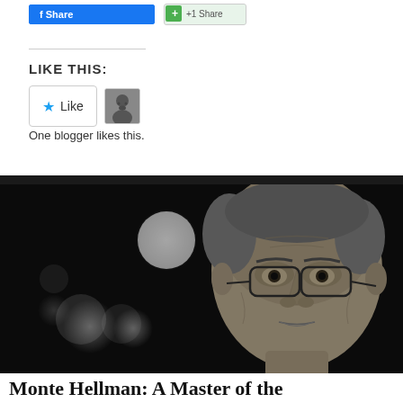[Figure (screenshot): Social sharing buttons at top of blog post]
LIKE THIS:
[Figure (screenshot): Like button widget with star icon and a blogger avatar thumbnail. Text: One blogger likes this.]
One blogger likes this.
[Figure (photo): Black and white portrait photograph of an elderly man with glasses, grey hair, bokeh background lights]
Monte Hellman: A Master of the